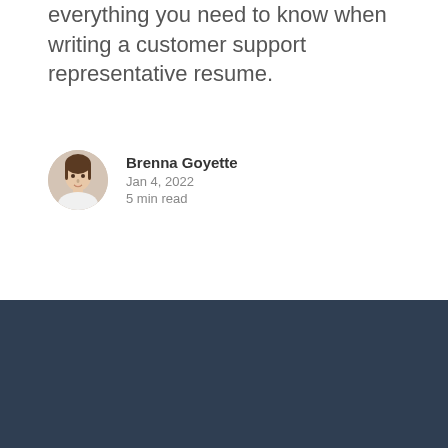everything you need to know when writing a customer support representative resume.
[Figure (photo): Round avatar photo of Brenna Goyette, a young woman with dark hair]
Brenna Goyette
Jan 4, 2022
5 min read
RESUME
Resume Templates
COMPANY
Contact